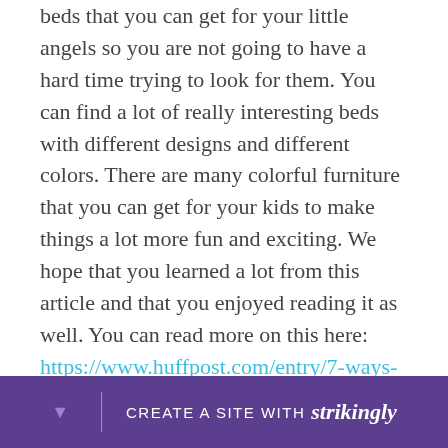beds that you can get for your little angels so you are not going to have a hard time trying to look for them. You can find a lot of really interesting beds with different designs and different colors. There are many colorful furniture that you can get for your kids to make things a lot more fun and exciting. We hope that you learned a lot from this article and that you enjoyed reading it as well. You can read more on this here: https://www.huffpost.com/entry/7-ways-to-make-your-kids-room-look-more-sophisticated_n_55e71668e4b0b7a9633b14a3.
CREATE A SITE WITH strikingly